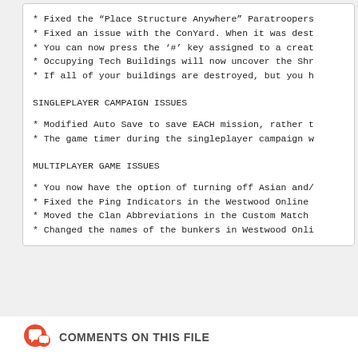* Fixed the "Place Structure Anywhere" Paratroopers...
* Fixed an issue with the ConYard. When it was dest...
* You can now press the '#' key assigned to a creat...
* Occupying Tech Buildings will now uncover the Shr...
* If all of your buildings are destroyed, but you h...
SINGLEPLAYER CAMPAIGN ISSUES
* Modified Auto Save to save EACH mission, rather t...
* The game timer during the singleplayer campaign w...
MULTIPLAYER GAME ISSUES
* You now have the option of turning off Asian and/...
* Fixed the Ping Indicators in the Westwood Online...
* Moved the Clan Abbreviations in the Custom Match...
* Changed the names of the bunkers in Westwood Onli...
COMMENTS ON THIS FILE